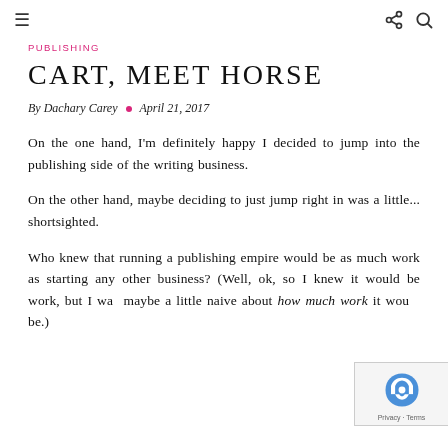≡  ⋖ 🔍
PUBLISHING
CART, MEET HORSE
By Dachary Carey • April 21, 2017
On the one hand, I'm definitely happy I decided to jump into the publishing side of the writing business.
On the other hand, maybe deciding to just jump right in was a little... shortsighted.
Who knew that running a publishing empire would be as much work as starting any other business? (Well, ok, so I knew it would be work, but I was maybe a little naive about how much work it would be.)